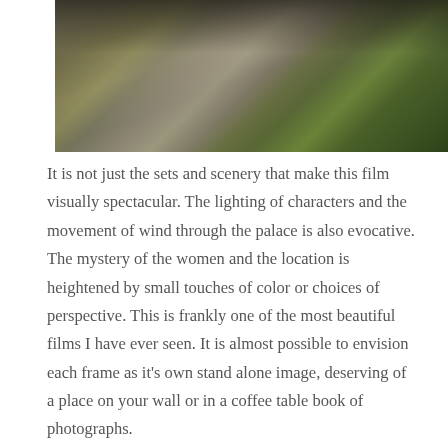[Figure (photo): A film still showing figures in dramatic lighting against a rocky outdoor landscape with greenery visible in the background, dark borders on the sides.]
It is not just the sets and scenery that make this film visually spectacular. The lighting of characters and the movement of wind through the palace is also evocative. The mystery of the women and the location is heightened by small touches of color or choices of perspective. This is frankly one of the most beautiful films I have ever seen. It is almost possible to envision each frame as it's own stand alone image, deserving of a place on your wall or in a coffee table book of photographs.